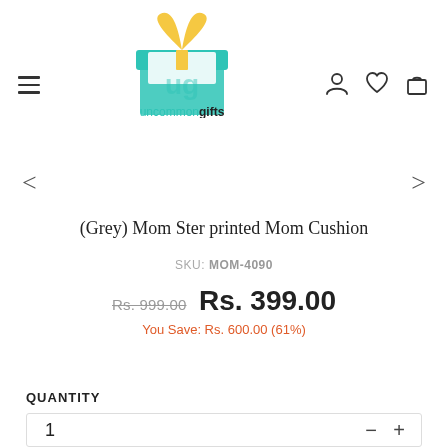[Figure (logo): Uncommon Gifts logo: teal gift box with yellow bow/ribbon, open top, with 'uncommongifts' text below in teal and black]
(Grey) Mom Ster printed Mom Cushion
SKU: MOM-4090
Rs. 999.00  Rs. 399.00
You Save: Rs. 600.00 (61%)
QUANTITY